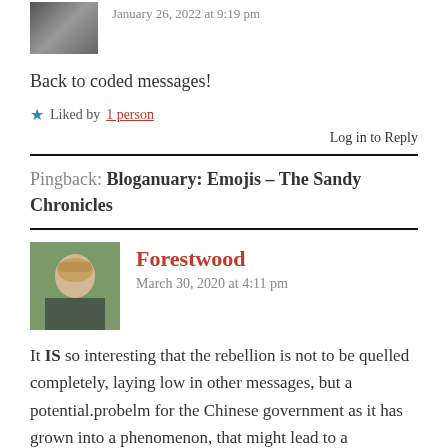[Figure (photo): Small avatar photo of a person, grayscale/black and white]
January 26, 2022 at 9:19 pm
Back to coded messages!
★ Liked by 1 person
Log in to Reply
Pingback: Bloganuary: Emojis – The Sandy Chronicles
[Figure (photo): Avatar photo of a blonde woman sitting outdoors]
Forestwood
March 30, 2020 at 4:11 pm
It IS so interesting that the rebellion is not to be quelled completely, laying low in other messages, but a potential.probelm for the Chinese government as it has grown into a phenomenon, that might lead to a libertarian movement.